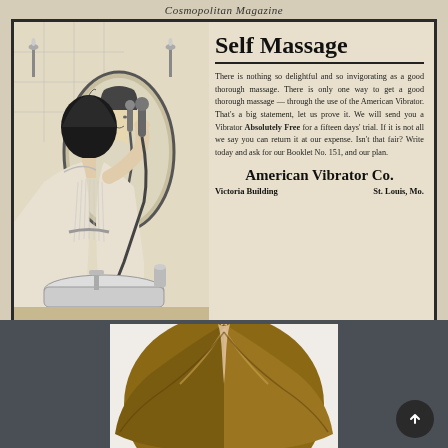Cosmopolitan Magazine
[Figure (illustration): Vintage advertisement illustration showing a woman using a vibrator massage device while looking in an oval mirror, set in a bathroom scene. The image is a black and white line drawing in early 1900s style.]
Self Massage
There is nothing so delightful and so invigorating as a good thorough massage. There is only one way to get a good thorough massage — through the use of the American Vibrator. That's a big statement, let us prove it. We will send you a Vibrator Absolutely Free for a fifteen days' trial. If it is not all we say you can return it at our expense. Isn't that fair? Write today and ask for our Booklet No. 151, and our plan.
American Vibrator Co. Victoria Building    St. Louis, Mo.
[Figure (photo): Close-up photograph of the top of a person's head showing brown hair with a center part, viewed from above.]